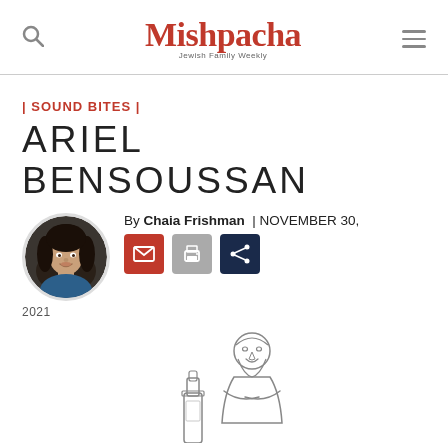Mishpacha — Jewish Family Weekly
| SOUND BITES |
ARIEL BENSOUSSAN
By Chaia Frishman | NOVEMBER 30, 2021
[Figure (photo): Circular author photo of Chaia Frishman, a woman with dark curly hair wearing a blue top, on a grey background]
[Figure (illustration): Line drawing illustration of a bearded man with arms crossed standing next to a wine bottle]